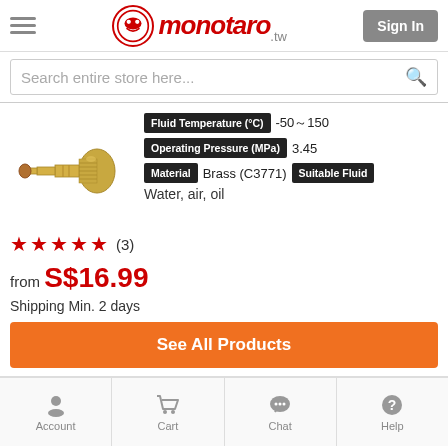monotaro.tw — Sign In
Search entire store here...
[Figure (photo): Brass hose barb fitting, gold-colored metal connector with stepped barb on one end and threaded section, shown on white background]
| Attribute | Value |
| --- | --- |
| Fluid Temperature (°C) | -50～150 |
| Operating Pressure (MPa) | 3.45 |
| Material | Brass (C3771) |
| Suitable Fluid | Water, air, oil |
★★★★★ (3)
from S$16.99
Shipping Min. 2 days
See All Products
Account  Cart  Chat  Help